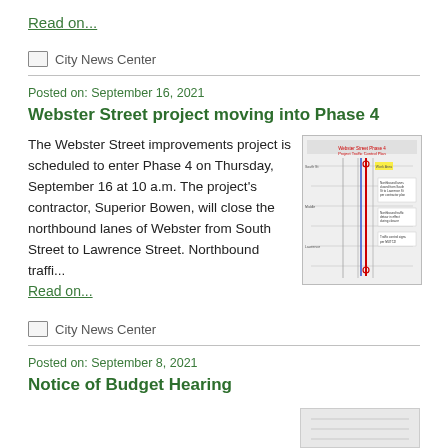Read on...
City News Center
Posted on: September 16, 2021
Webster Street project moving into Phase 4
The Webster Street improvements project is scheduled to enter Phase 4 on Thursday, September 16 at 10 a.m. The project's contractor, Superior Bowen, will close the northbound lanes of Webster from South Street to Lawrence Street. Northbound traffi...
[Figure (engineering-diagram): Webster Street Phase 4 Project Traffic Control Plan map showing northbound lanes closure between South Street and Lawrence Street, with red and blue lines indicating traffic control measures.]
Read on...
City News Center
Posted on: September 8, 2021
Notice of Budget Hearing